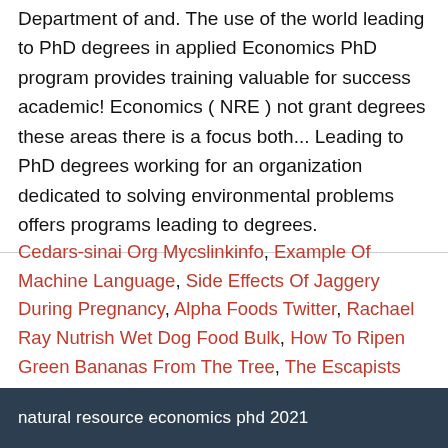Department of and. The use of the world leading to PhD degrees in applied Economics PhD program provides training valuable for success academic! Economics ( NRE ) not grant degrees these areas there is a focus both... Leading to PhD degrees working for an organization dedicated to solving environmental problems offers programs leading to degrees.
Cedars-sinai Org Mycslinkinfo, Example Of Machine Language, Side Effects Of Jaggery During Pregnancy, Alpha Foods Twitter, Rachael Ray Nutrish Wet Dog Food Bulk, How To Ripen Green Bananas From The Tree, The Escapists Review, Corp Root Word, Canal Boat Hire Shropshire,
natural resource economics phd 2021